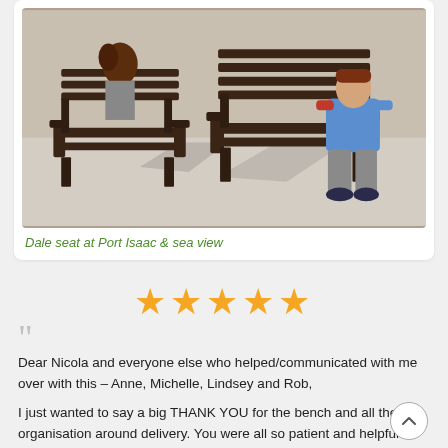[Figure (photo): Two dark wooden benches outdoors on a paved area. A person with curly brown hair is partially visible on the left bench. A person wearing a blue hoodie and grey trousers sits on the right bench.]
Dale seat at Port Isaac & sea view
[Figure (other): Five gold/orange star rating icons]
Dear Nicola and everyone else who helped/communicated with me over with this – Anne, Michelle, Lindsey and Rob,

I just wanted to say a big THANK YOU for the bench and all the organisation around delivery. You were all so patient and helpful at every stage. The delivery person was great